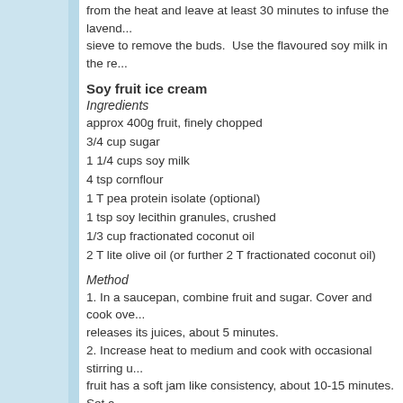from the heat and leave at least 30 minutes to infuse the lavender. Strain through a sieve to remove the buds. Use the flavoured soy milk in the re...
Soy fruit ice cream
Ingredients
approx 400g fruit, finely chopped
3/4 cup sugar
1 1/4 cups soy milk
4 tsp cornflour
1 T pea protein isolate (optional)
1 tsp soy lecithin granules, crushed
1/3 cup fractionated coconut oil
2 T lite olive oil (or further 2 T fractionated coconut oil)
Method
1. In a saucepan, combine fruit and sugar. Cover and cook over... releases its juices, about 5 minutes.
2. Increase heat to medium and cook with occasional stirring un... fruit has a soft jam like consistency, about 10-15 minutes. Set a...
3. Measure soy milk into a jug or bowl.
4. Place cornflour (and soy milk powder if using) in a saucepan... make a paste. Continue to add the soy milk, stirring well, until a...
5. Heat until thickened and just starting to steam and form little...
6. Turn heat to low; stir in the oils and soy lecithin.